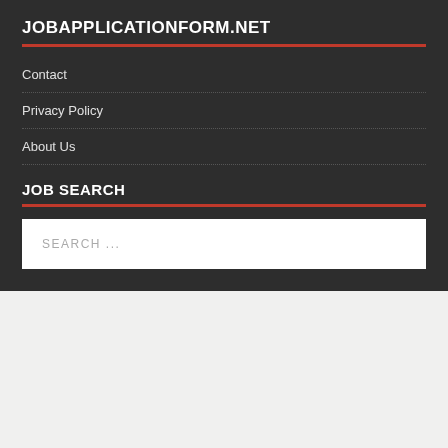JOBAPPLICATIONFORM.NET
Contact
Privacy Policy
About Us
JOB SEARCH
SEARCH ...